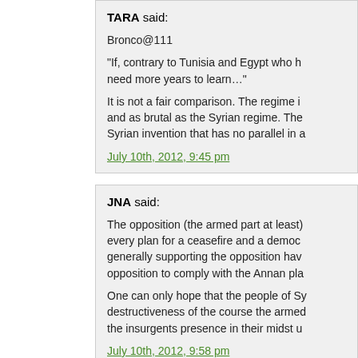TARA said:
Bronco@111
“If, contrary to Tunisia and Egypt who h… need more years to learn…”
It is not a fair comparison. The regime i… and as brutal as the Syrian regime. The… Syrian invention that has no parallel in a…
July 10th, 2012, 9:45 pm
JNA said:
The opposition (the armed part at least)… every plan for a ceasefire and a democ… generally supporting the opposition hav… opposition to comply with the Annan pla…
One can only hope that the people of Sy… destructiveness of the course the arme… the insurgents presence in their midst u…
July 10th, 2012, 9:58 pm
GHUFRAN said:
Bashar and his family are quickly becom… that may help end bloodshed in Syria,w… providing guarantees to top officers and…